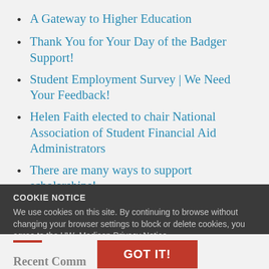A Gateway to Higher Education
Thank You for Your Day of the Badger Support!
Student Employment Survey | We Need Your Feedback!
Helen Faith elected to chair National Association of Student Financial Aid Administrators
There are many ways to support scholarships!
COOKIE NOTICE
We use cookies on this site. By continuing to browse without changing your browser settings to block or delete cookies, you agree to the UW–Madison Privacy Notice.
Recent Comm
GOT IT!